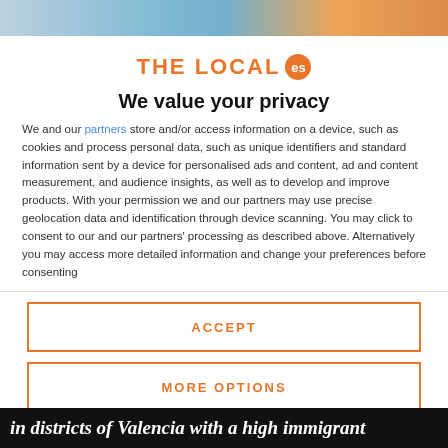[Figure (photo): Top image bar showing partial webpage with blue and orange tones]
THE LOCAL es
We value your privacy
We and our partners store and/or access information on a device, such as cookies and process personal data, such as unique identifiers and standard information sent by a device for personalised ads and content, ad and content measurement, and audience insights, as well as to develop and improve products. With your permission we and our partners may use precise geolocation data and identification through device scanning. You may click to consent to our and our partners' processing as described above. Alternatively you may access more detailed information and change your preferences before consenting
ACCEPT
MORE OPTIONS
in districts of Valencia with a high immigrant